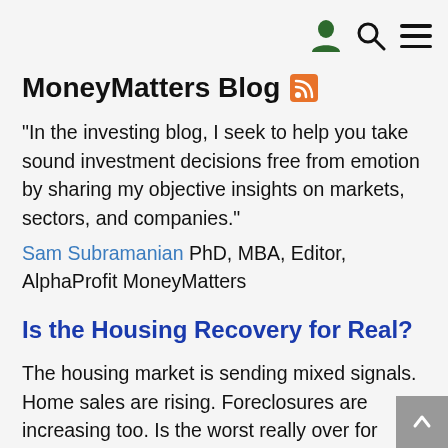MoneyMatters Blog
MoneyMatters Blog
"In the investing blog, I seek to help you take sound investment decisions free from emotion by sharing my objective insights on markets, sectors, and companies."
Sam Subramanian PhD, MBA, Editor, AlphaProfit MoneyMatters
Is the Housing Recovery for Real?
The housing market is sending mixed signals. Home sales are rising. Foreclosures are increasing too. Is the worst really over for housing? Rising Sales of New and Existing Homes Sales of existing and new homes